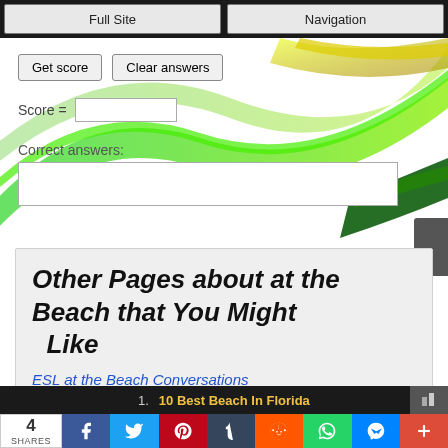Full Site | Navigation
[Figure (illustration): Decorative green and yellow wave/ribbon design on white background]
Get score | Clear answers
Score =
Correct answers:
Other Pages about at the Beach that You Might Like
ESL at the Beach Conversations
1. 10 Best Beach In Florida
4 SHARES Facebook Twitter Pinterest Tumblr Reddit WhatsApp Messenger +